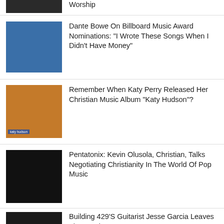[Figure (photo): Partial top image, dark background, worship]
Worship
[Figure (photo): Dante Bowe portrait on blue background]
Dante Bowe On Billboard Music Award Nominations: "I Wrote These Songs When I Didn't Have Money"
[Figure (photo): Katy Perry close-up with 'katy hudson' label overlay, warm tones]
Remember When Katy Perry Released Her Christian Music Album "Katy Hudson"?
[Figure (photo): Pentatonix Kevin Olusola performing, dark background]
Pentatonix: Kevin Olusola, Christian, Talks Negotiating Christianity In The World Of Pop Music
[Figure (photo): Building 429 band group photo, dark background]
Building 429'S Guitarist Jesse Garcia Leaves The Band